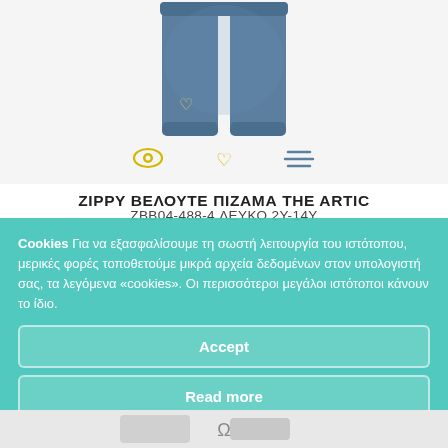[Figure (photo): Blue velvet children's pajama pants with yellow heart embroidery, displayed on white background. Below the pants are small icons: an eye icon (yellow) and a heart outline icon (yellow), and a filter/menu icon.]
ZIPPY ΒΕΛΟΥΤΕ ΠΙΖΑΜΑ THE ARTIC
ZBB04-488-4 ΛΕΥΚΟ 2Υ-14Υ
Cookies Για να εξασφαλίσουμε τη σωστή λειτουργία του ιστότοπου, μερικές φορές τοποθετούμε μικρά αρχεία δεδομένων στον υπολογιστή σας, τα λεγόμενα «cookies». Οι περισσότεροι μεγάλοι ιστότοποι κάνουν το ίδιο.
Accept
Read more
Change Settings
[Figure (photo): Partial view of another product at the bottom of the page (gray/white clothing item).]